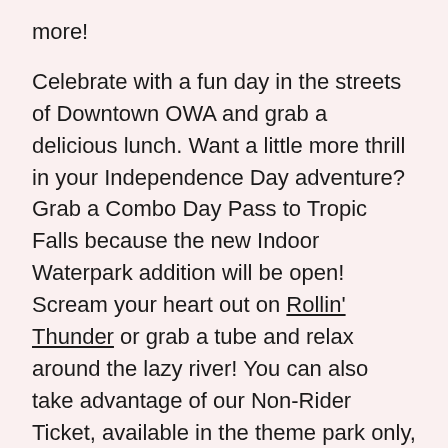more!
Celebrate with a fun day in the streets of Downtown OWA and grab a delicious lunch. Want a little more thrill in your Independence Day adventure? Grab a Combo Day Pass to Tropic Falls because the new Indoor Waterpark addition will be open! Scream your heart out on Rollin' Thunder or grab a tube and relax around the lazy river! You can also take advantage of our Non-Rider Ticket, available in the theme park only, and simply enjoy the view!
This is a free event that is open to the public. Check out our full schedule below for more information!
Friday, July 1
2-6pm Kids Activities at the Downtown OWA Splash Pad*
4-8pm DJ Patrick at the Downtown OWA Splash Pad